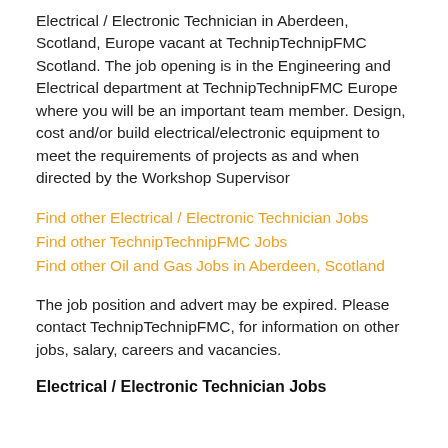Electrical / Electronic Technician in Aberdeen, Scotland, Europe vacant at TechnipTechnipFMC Scotland. The job opening is in the Engineering and Electrical department at TechnipTechnipFMC Europe where you will be an important team member. Design, cost and/or build electrical/electronic equipment to meet the requirements of projects as and when directed by the Workshop Supervisor
Find other Electrical / Electronic Technician Jobs
Find other TechnipTechnipFMC Jobs
Find other Oil and Gas Jobs in Aberdeen, Scotland
The job position and advert may be expired. Please contact TechnipTechnipFMC, for information on other jobs, salary, careers and vacancies.
Electrical / Electronic Technician Jobs